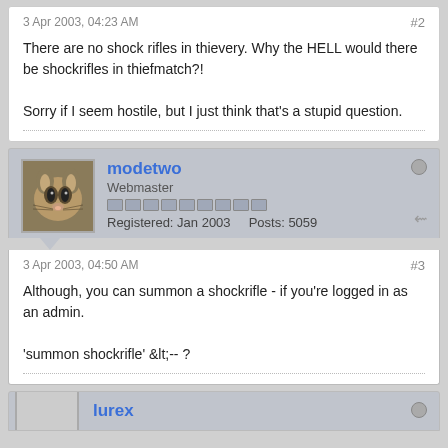3 Apr 2003, 04:23 AM
#2
There are no shock rifles in thievery. Why the HELL would there be shockrifles in thiefmatch?!
Sorry if I seem hostile, but I just think that's a stupid question.
modetwo
Webmaster
Registered: Jan 2003    Posts: 5059
3 Apr 2003, 04:50 AM
#3
Although, you can summon a shockrifle - if you're logged in as an admin.
'summon shockrifle' &lt;-- ?
lurex